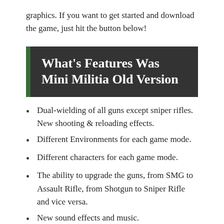graphics. If you want to get started and download the game, just hit the button below!
What's Features Was Mini Militia Old Version
Dual-wielding of all guns except sniper rifles. New shooting & reloading effects.
Different Environments for each game mode.
Different characters for each game mode.
The ability to upgrade the guns, from SMG to Assault Rifle, from Shotgun to Sniper Rifle and vice versa.
New sound effects and music.